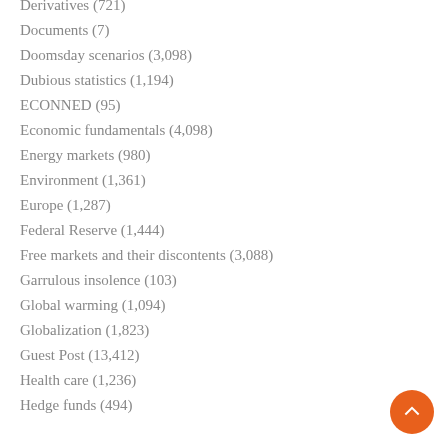Derivatives (721)
Documents (7)
Doomsday scenarios (3,098)
Dubious statistics (1,194)
ECONNED (95)
Economic fundamentals (4,098)
Energy markets (980)
Environment (1,361)
Europe (1,287)
Federal Reserve (1,444)
Free markets and their discontents (3,088)
Garrulous insolence (103)
Global warming (1,094)
Globalization (1,823)
Guest Post (13,412)
Health care (1,236)
Hedge funds (494)